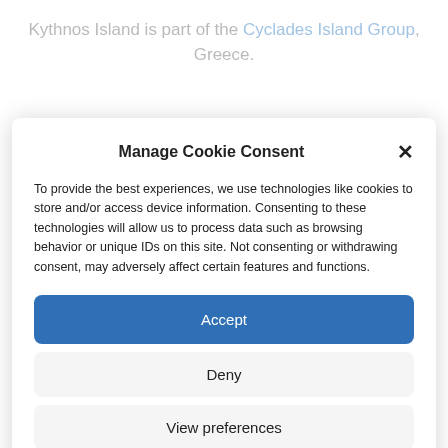Kythnos Island is part of the Cyclades Island Group, Greece.
Manage Cookie Consent
To provide the best experiences, we use technologies like cookies to store and/or access device information. Consenting to these technologies will allow us to process data such as browsing behavior or unique IDs on this site. Not consenting or withdrawing consent, may adversely affect certain features and functions.
Accept
Deny
View preferences
Cookie Policy